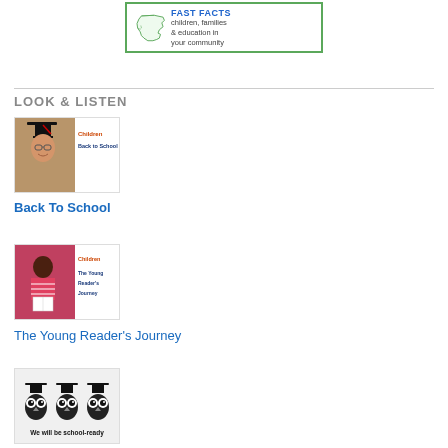[Figure (logo): Fast Facts banner with state outline logo and tagline 'children, families & education in your community']
LOOK & LISTEN
[Figure (photo): Thumbnail image of a person in graduation cap and gown — Back To School]
Back To School
[Figure (photo): Thumbnail image of a child reading — The Young Reader's Journey]
The Young Reader's Journey
[Figure (illustration): Thumbnail image of three owls wearing graduation caps with text 'We will be school-ready']